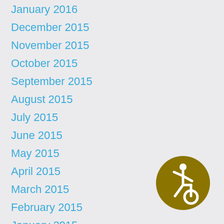January 2016
December 2015
November 2015
October 2015
September 2015
August 2015
July 2015
June 2015
May 2015
April 2015
March 2015
February 2015
January 2015
December 2014
[Figure (logo): Accessibility icon — gold circle with a white stylized wheelchair user symbol]